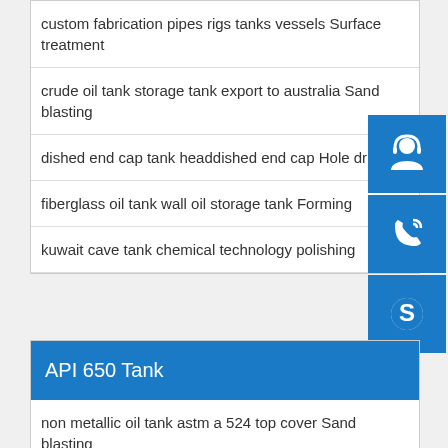custom fabrication pipes rigs tanks vessels Surface treatment
crude oil tank storage tank export to australia Sand blasting
dished end cap tank headdished end cap Hole drilling
fiberglass oil tank wall oil storage tank Forming
kuwait cave tank chemical technology polishing
[Figure (illustration): Three blue icon buttons on the right side: headset/contact icon, phone icon, and Skype icon]
API 650 Tank
non metallic oil tank astm a 524 top cover Sand blasting